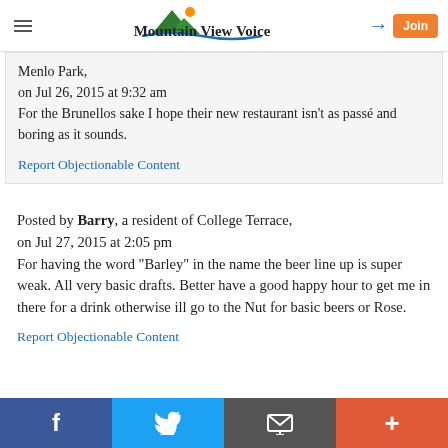Mountain View Voice
Menlo Park,
on Jul 26, 2015 at 9:32 am
For the Brunellos sake I hope their new restaurant isn't as passé and boring as it sounds.
Report Objectionable Content
Posted by Barry, a resident of College Terrace,
on Jul 27, 2015 at 2:05 pm
For having the word "Barley" in the name the beer line up is super weak. All very basic drafts. Better have a good happy hour to get me in there for a drink otherwise ill go to the Nut for basic beers or Rose.
Report Objectionable Content